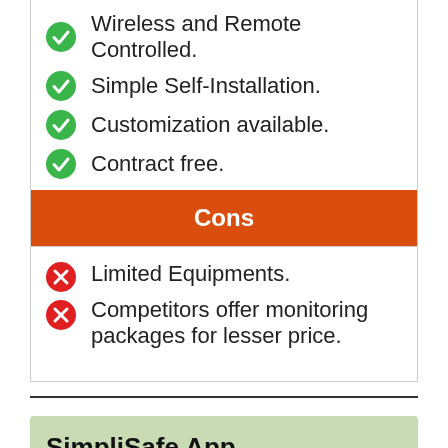Wireless and Remote Controlled.
Simple Self-Installation.
Customization available.
Contract free.
Cons
Limited Equipments.
Competitors offer monitoring packages for lesser price.
SimpliSafe App